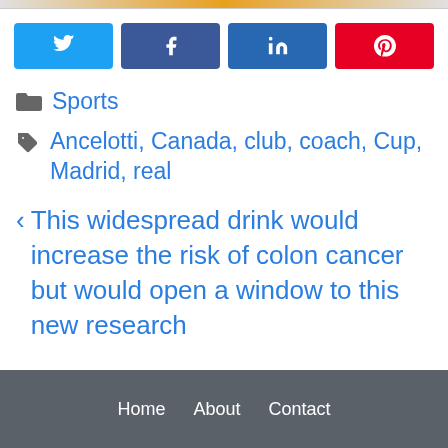[Figure (other): Top decorative bar with golden gradient]
[Figure (other): Social share buttons: Twitter (blue), Facebook (dark blue), LinkedIn (blue), Pinterest (red) with respective icons]
Sports
Ancelotti, Canada, club, coach, Cup, Madrid, real
This widespread drink would increase the risk of colon cancer but would open a window to this new research
Home   About   Contact